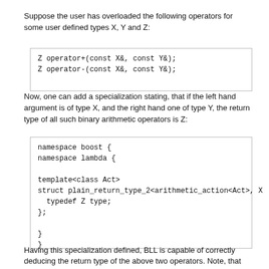Suppose the user has overloaded the following operators for some user defined types X, Y and Z:
[Figure (screenshot): Code block showing: Z operator+(const X&, const Y&); Z operator-(const X&, const Y&);]
Now, one can add a specialization stating, that if the left hand argument is of type X, and the right hand one of type Y, the return type of all such binary arithmetic operators is Z:
[Figure (screenshot): Code block showing namespace boost { namespace lambda { template<class Act> struct plain_return_type_2<arithmetic_action<Act>, X  typedef Z type; }; } }]
Having this specialization defined, BLL is capable of correctly deducing the return type of the above two operators. Note, that the specializations must be in the same namespace, ::boost::lambda, with the primary template. For brevity, we do not show the namespace definitions in the examples below.